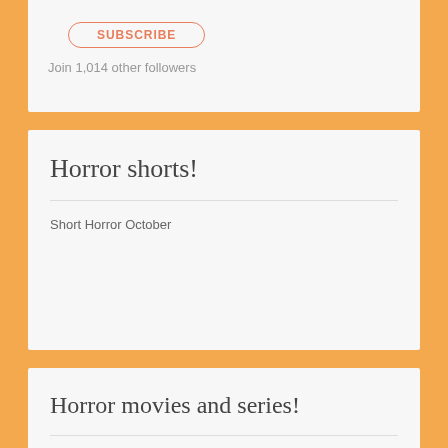SUBSCRIBE
Join 1,014 other followers
Horror shorts!
Short Horror October
Horror movies and series!
Horror reviews (informal)
R...